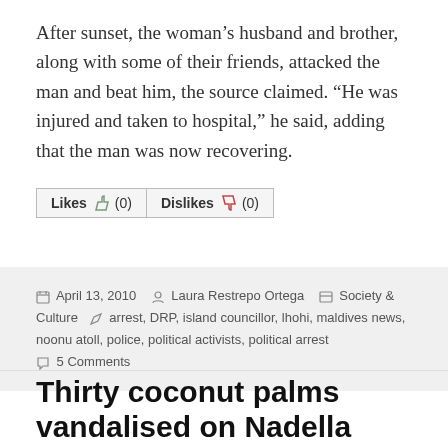After sunset, the woman’s husband and brother, along with some of their friends, attacked the man and beat him, the source claimed. “He was injured and taken to hospital,” he said, adding that the man was now recovering.
Likes (0)  Dislikes (0)
April 13, 2010  Laura Restrepo Ortega  Society & Culture  arrest, DRP, island councillor, lhohi, maldives news, noonu atoll, police, political activists, political arrest  5 Comments
Thirty coconut palms vandalised on Nadella